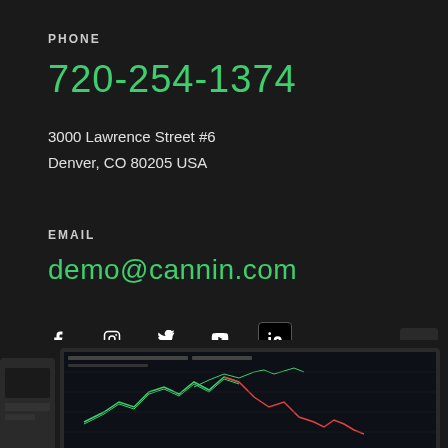PHONE
720-254-1374
3000 Lawrence Street #6
Denver, CO 80205 USA
EMAIL
demo@cannin.com
[Figure (infographic): Social media icons: Facebook, Instagram, Twitter, YouTube, LinkedIn]
[Figure (screenshot): Partial screenshot of a trading chart interface on a dark background at the bottom of the page]